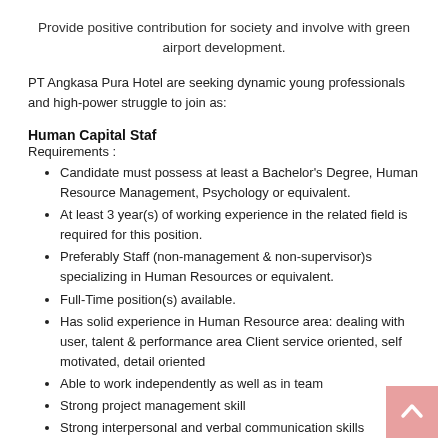Provide positive contribution for society and involve with green airport development.
PT Angkasa Pura Hotel are seeking dynamic young professionals and high-power struggle to join as:
Human Capital Staf
Requirements :
Candidate must possess at least a Bachelor's Degree, Human Resource Management, Psychology or equivalent.
At least 3 year(s) of working experience in the related field is required for this position.
Preferably Staff (non-management & non-supervisor)s specializing in Human Resources or equivalent.
Full-Time position(s) available.
Has solid experience in Human Resource area: dealing with user, talent & performance area Client service oriented, self motivated, detail oriented
Able to work independently as well as in team
Strong project management skill
Strong interpersonal and verbal communication skills